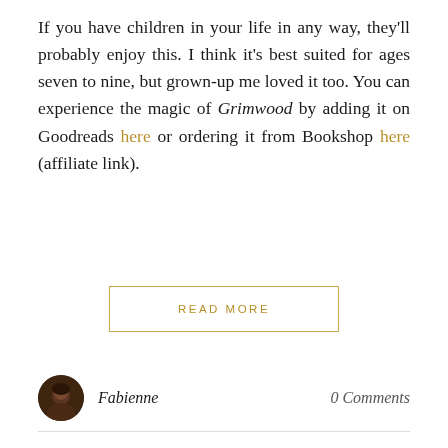If you have children in your life in any way, they'll probably enjoy this. I think it's best suited for ages seven to nine, but grown-up me loved it too. You can experience the magic of Grimwood by adding it on Goodreads here or ordering it from Bookshop here (affiliate link).
READ MORE
Fabienne
0 Comments
BLOG TOURS
Blog Tour: The Wisdom of